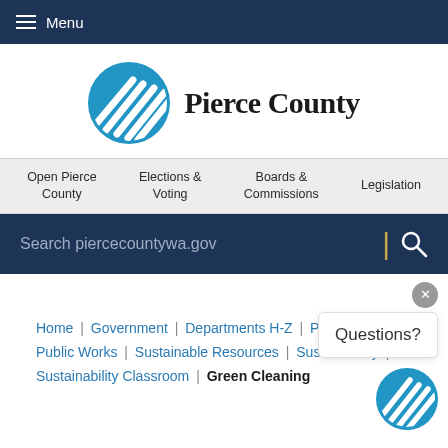Menu
[Figure (logo): Pierce County logo: blue circle with white mountain/wave stripes, text 'Pierce County' in serif font]
Open Pierce County
Elections & Voting
Boards & Commissions
Legislation
Search piercecountywa.gov
Questions?
Home | Government | Departments H-Z | Planning & Public Works | Sustainable Resources | Sustainability | Sustainability Classroom | Green Cleaning